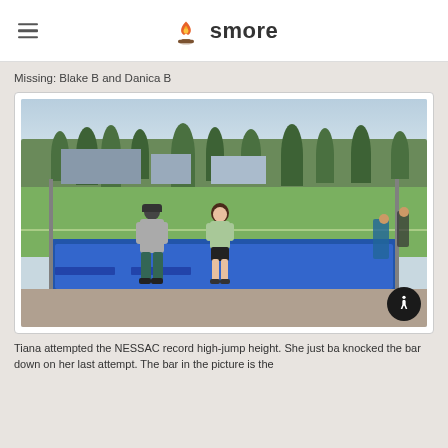smore
Missing: Blake B and Danica B
[Figure (photo): Two people standing in front of a blue high-jump mat at an outdoor sports field. One person in a grey hoodie and jeans, the other in a light green long-sleeve top and black shorts. Trees and buildings visible in background.]
Tiana attempted the NESSAC record high-jump height. She just ba knocked the bar down on her last attempt. The bar in the picture is the